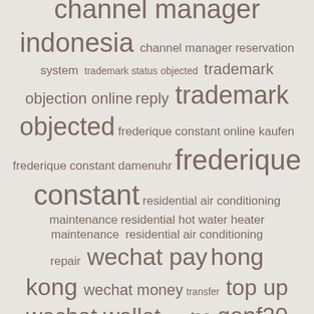[Figure (infographic): Word cloud containing search terms of varying sizes, in shades of brown/taupe on a light beige/grey background. Terms include channel manager indonesia, trademark objected, frederique constant, wechat pay hong kong, genf20 plus, and others.]